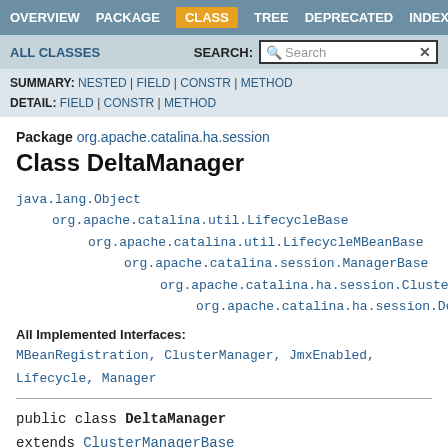OVERVIEW  PACKAGE  CLASS  TREE  DEPRECATED  INDEX
ALL CLASSES   SEARCH:  Search
SUMMARY: NESTED | FIELD | CONSTR | METHOD  DETAIL: FIELD | CONSTR | METHOD
Package org.apache.catalina.ha.session
Class DeltaManager
java.lang.Object
    org.apache.catalina.util.LifecycleBase
        org.apache.catalina.util.LifecycleMBeanBase
            org.apache.catalina.session.ManagerBase
                org.apache.catalina.ha.session.ClusterMana...
                    org.apache.catalina.ha.session.DeltaMa...
All Implemented Interfaces:
MBeanRegistration, ClusterManager, JmxEnabled, Lifecycle, Manager
public class DeltaManager
extends ClusterManagerBase